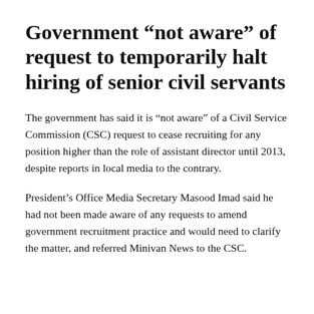Government “not aware” of request to temporarily halt hiring of senior civil servants
The government has said it is “not aware” of a Civil Service Commission (CSC) request to cease recruiting for any position higher than the role of assistant director until 2013, despite reports in local media to the contrary.
President’s Office Media Secretary Masood Imad said he had not been made aware of any requests to amend government recruitment practice and would need to clarify the matter, and referred Minivan News to the CSC.